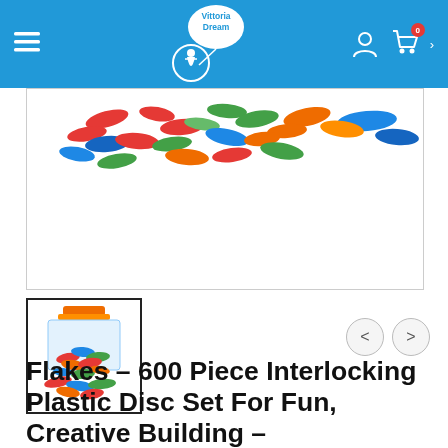Vittoria Dream - Navigation bar with hamburger menu, logo, user icon, cart icon
[Figure (photo): Colorful interlocking plastic disc flakes scattered, showing red, green, blue, orange colors on white background - top portion of product image]
[Figure (photo): Thumbnail image of Flakes 600 Piece Interlocking Plastic Disc Set product box with colorful discs piled]
Flakes – 600 Piece Interlocking Plastic Disc Set For Fun, Creative Building – Educational